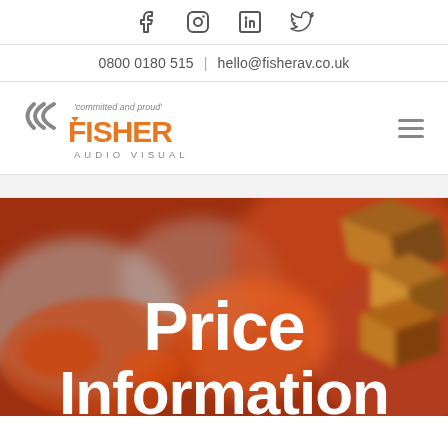Social media icons: Facebook, Instagram, LinkedIn, Twitter
0800 0180 515 | hello@fisherav.co.uk
[Figure (logo): Fisher Audio Visual logo with tagline 'committed and proud']
[Figure (photo): Blurred background image of orange/brown 3D shapes or cubes, used as hero banner]
Price Information